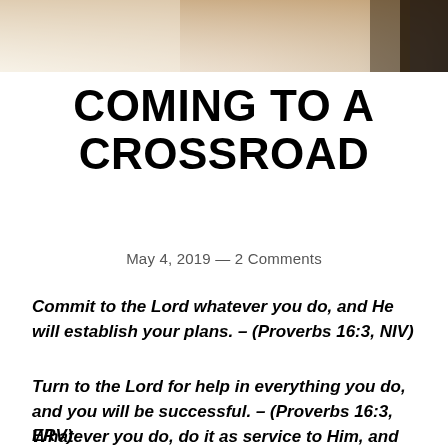[Figure (photo): Header image showing a road/crossroad scene with warm golden-brown tones, a dark silhouette on the right side]
COMING TO A CROSSROAD
May 4, 2019 — 2 Comments
Commit to the Lord whatever you do, and He will establish your plans. – (Proverbs 16:3, NIV)
Turn to the Lord for help in everything you do, and you will be successful. – (Proverbs 16:3, ERV)
Whatever you do, do it as service to Him, and